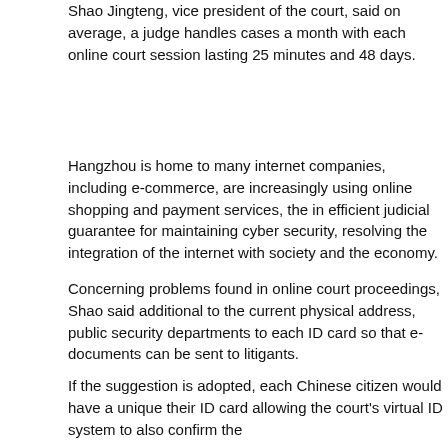Shao Jingteng, vice president of the court, said on average, a judge handles cases a month with each online court session lasting 25 minutes and 48 days.
Hangzhou is home to many internet companies, including e-commerce, are increasingly using online shopping and payment services, the in efficient judicial guarantee for maintaining cyber security, resolving the integration of the internet with society and the economy.
Concerning problems found in online court proceedings, Shao said additional to the current physical address, public security departments to each ID card so that e-documents can be sent to litigants.
If the suggestion is adopted, each Chinese citizen would have a unique their ID card allowing the court's virtual ID system to also confirm the
The court is building of a database of internet-related cases, which p and artificial intelligent technology in the judicial sector.
Du Qian, chief justice of the court, said it aims to use big data analysis making, so as to better serve for the public interests and economic c